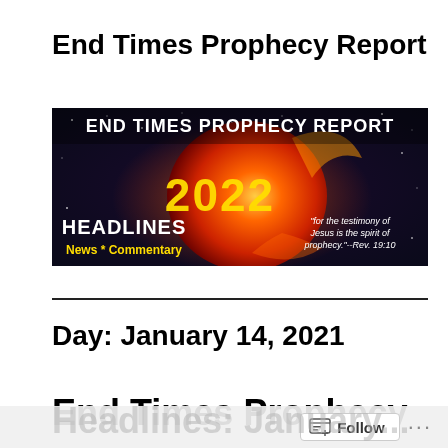End Times Prophecy Report
[Figure (illustration): Banner image for End Times Prophecy Report 2022 with space/cosmic background, orange glowing orb, yellow text '2022', white text 'HEADLINES', yellow text 'News * Commentary', and white italic text 'for the testimony of Jesus is the spirit of prophecy.--Rev. 19:10']
Day: January 14, 2021
End Times Prophecy